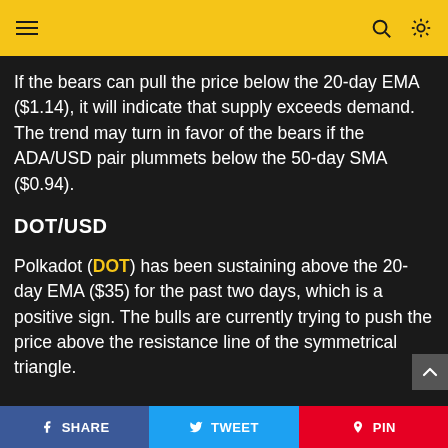Navigation header with menu, search, and theme toggle
If the bears can pull the price below the 20-day EMA ($1.14), it will indicate that supply exceeds demand. The trend may turn in favor of the bears if the ADA/USD pair plummets below the 50-day SMA ($0.94).
DOT/USD
Polkadot (DOT) has been sustaining above the 20-day EMA ($35) for the past two days, which is a positive sign. The bulls are currently trying to push the price above the resistance line of the symmetrical triangle.
SHARE   TWEET   PIN